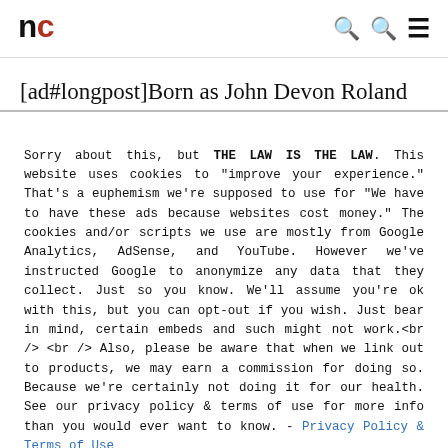nc [search] [search] [menu]
[ad#longpost]Born as John Devon Roland Pertwee (a Anglicized version of de Perthuis de Laillevaul—his family surname) in Kensington on July 7, 1919. As a child, he was quite a hooligan. He attended the prestigious Wellington House preparatory school in
Sorry about this, but THE LAW IS THE LAW. This website uses cookies to "improve your experience." That's a euphemism we're supposed to use for "We have to have these ads because websites cost money." The cookies and/or scripts we use are mostly from Google Analytics, AdSense, and YouTube. However we've instructed Google to anonymize any data that they collect. Just so you know. We'll assume you're ok with this, but you can opt-out if you wish. Just bear in mind, certain embeds and such might not work.<br /> <br /> Also, please be aware that when we link out to products, we may earn a commission for doing so. Because we're certainly not doing it for our health. See our privacy policy & terms of use for more info than you would ever want to know. - Privacy Policy & Terms of Use
Accept
Decline
Cookie Settings